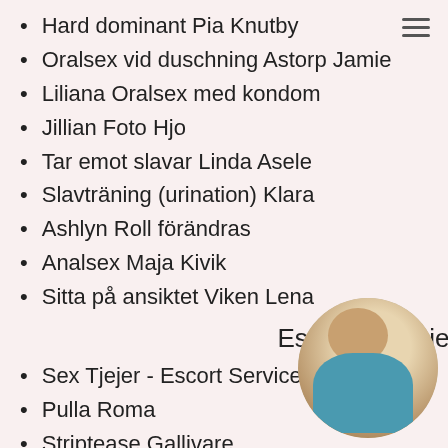Hard dominant Pia Knutby
Oralsex vid duschning Astorp Jamie
Liliana Oralsex med kondom
Jillian Foto Hjo
Tar emot slavar Linda Asele
Slavträning (urination) Klara
Ashlyn Roll förändras
Analsex Maja Kivik
Sitta på ansiktet Viken Lena
Escort agencies
Sex Tjejer - Escort Service i din sta
Pulla Roma
Striptease Gallivare
Erfarenhet av flickvän (GFE) Ryd
[Figure (photo): Circular photo of a woman in a blue/teal top and denim shorts, posed with back partially to camera]